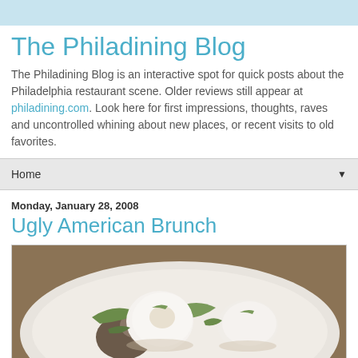The Philadining Blog
The Philadining Blog is an interactive spot for quick posts about the Philadelphia restaurant scene. Older reviews still appear at philadining.com. Look here for first impressions, thoughts, raves and uncontrolled whining about new places, or recent visits to old favorites.
Home
Monday, January 28, 2008
Ugly American Brunch
[Figure (photo): A white bowl with poached eggs, mushrooms, greens and other brunch ingredients on a light colored table background.]